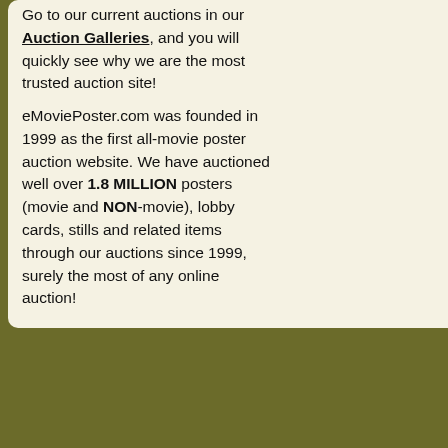Go to our current auctions in our Auction Galleries, and you will quickly see why we are the most trusted auction site!
eMoviePoster.com was founded in 1999 as the first all-movie poster auction website. We have auctioned well over 1.8 MILLION posters (movie and NON-movie), lobby cards, stills and related items through our auctions since 1999, surely the most of any online auction!
Wayne), Danny DeVito (as T (as Alfred Pennyworth), Pat P NOTE: Click on linked nam
Important Added Info: Note program.
Condition: good to very goo Learn More about condition g